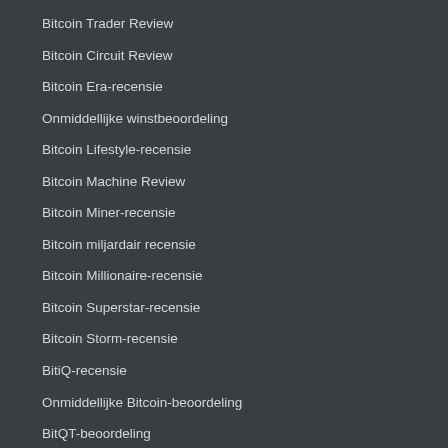Bitcoin Trader Review
Bitcoin Circuit Review
Bitcoin Era-recensie
Onmiddellijke winstbeoordeling
Bitcoin Lifestyle-recensie
Bitcoin Machine Review
Bitcoin Miner-recensie
Bitcoin miljardair recensie
Bitcoin Millionaire-recensie
Bitcoin Superstar-recensie
Bitcoin Storm-recensie
BitiQ-recensie
Onmiddellijke Bitcoin-beoordeling
BitQT-beoordeling
Yuan Pay Group Beoordeling